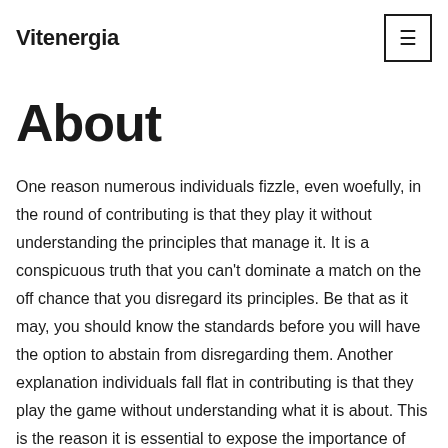Vitenergia
About
One reason numerous individuals fizzle, even woefully, in the round of contributing is that they play it without understanding the principles that manage it. It is a conspicuous truth that you can't dominate a match on the off chance that you disregard its principles. Be that as it may, you should know the standards before you will have the option to abstain from disregarding them. Another explanation individuals fall flat in contributing is that they play the game without understanding what it is about. This is the reason it is essential to expose the importance of the term, 'speculation'. What is a speculation? A venture is a